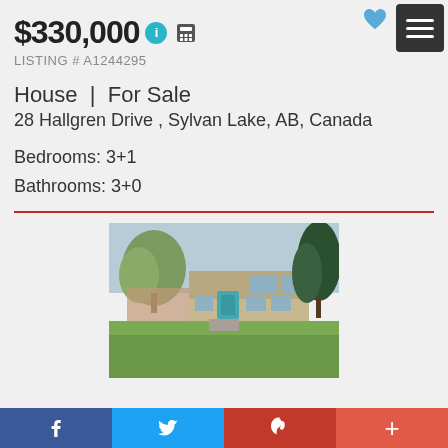$330,000
LISTING # A1244295
House  |  For Sale
28 Hallgren Drive , Sylvan Lake, AB, Canada
Bedrooms: 3+1
Bathrooms: 3+0
[Figure (photo): Exterior photo of a two-storey house with a green lawn, trees, and a teal front door at 28 Hallgren Drive, Sylvan Lake, AB]
f  |  Twitter bird  |  Pinterest P  |  +